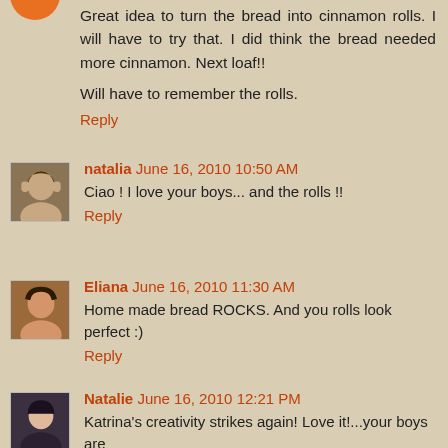Great idea to turn the bread into cinnamon rolls. I will have to try that. I did think the bread needed more cinnamon. Next loaf!!
Will have to remember the rolls.
Reply
natalia  June 16, 2010 10:50 AM
Ciao ! I love your boys... and the rolls !!
Reply
Eliana  June 16, 2010 11:30 AM
Home made bread ROCKS. And you rolls look perfect :)
Reply
Natalie  June 16, 2010 12:21 PM
Katrina's creativity strikes again! Love it!...your boys are